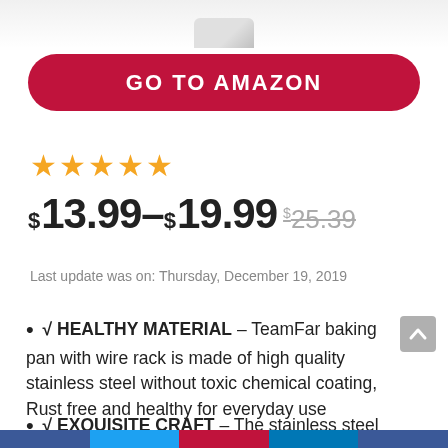[Figure (photo): Partial product image visible at top of page (stainless steel baking pan)]
GO TO AMAZON
[Figure (other): 5 gold star rating]
$13.99–$19.99 $25.39
Last update was on: Thursday, December 19, 2019
√ HEALTHY MATERIAL – TeamFar baking pan with wire rack is made of high quality stainless steel without toxic chemical coating, Rust free and healthy for everyday use
√ EXQUISITE CRAFT – The stainless steel baking
Social share bar